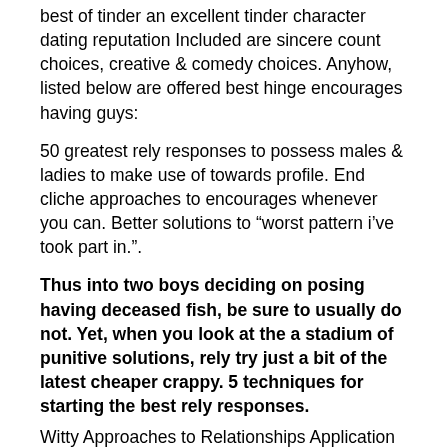best of tinder an excellent tinder character dating reputation Included are sincere count choices, creative & comedy choices. Anyhow, listed below are offered best hinge encourages having guys:
50 greatest rely responses to possess males & ladies to make use of towards profile. End cliche approaches to encourages whenever you can. Better solutions to “worst pattern i’ve took part in.”.
Thus into two boys deciding on posing having deceased fish, be sure to usually do not. Yet, when you look at the a stadium of punitive solutions, rely try just a bit of the latest cheaper crappy. 5 techniques for starting the best rely responses.
Witty Approaches to Relationships Application Questions – 30 Best Depend Encourage Responses For men That have Screenshots
Emlovz – Where do you turn To unwind